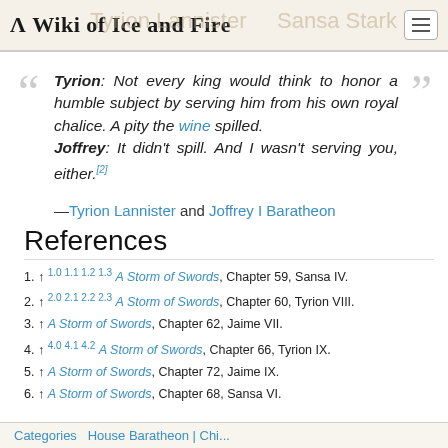A Wiki of Ice and Fire
Tyrion: Not every king would think to honor a humble subject by serving him from his own royal chalice. A pity the wine spilled.
Joffrey: It didn't spill. And I wasn't serving you, either.[2]
—Tyrion Lannister and Joffrey I Baratheon
References
1. ↑ 1.0 1.1 1.2 1.3 A Storm of Swords, Chapter 59, Sansa IV.
2. ↑ 2.0 2.1 2.2 2.3 A Storm of Swords, Chapter 60, Tyrion VIII.
3. ↑ A Storm of Swords, Chapter 62, Jaime VII.
4. ↑ 4.0 4.1 4.2 A Storm of Swords, Chapter 66, Tyrion IX.
5. ↑ A Storm of Swords, Chapter 72, Jaime IX.
6. ↑ A Storm of Swords, Chapter 68, Sansa VI.
Categories House Baratheon | Chi...